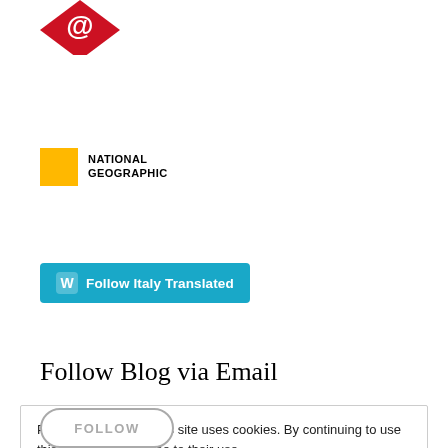[Figure (logo): Partial red diamond-shaped logo with '@' symbol, cropped at top of page]
[Figure (logo): National Geographic logo: yellow square followed by bold uppercase text reading NATIONAL GEOGRAPHIC]
[Figure (other): Cyan/teal rounded button with WordPress icon and text: Follow Italy Translated]
Follow Blog via Email
Privacy & Cookies: This site uses cookies. By continuing to use this website, you agree to their use.
To find out more, including how to control cookies, see here: Our Cookie Policy
[Figure (other): Close and accept button (grey rounded rectangle)]
[Figure (other): Partial FOLLOW button (rounded outline, grey text), cropped at bottom]